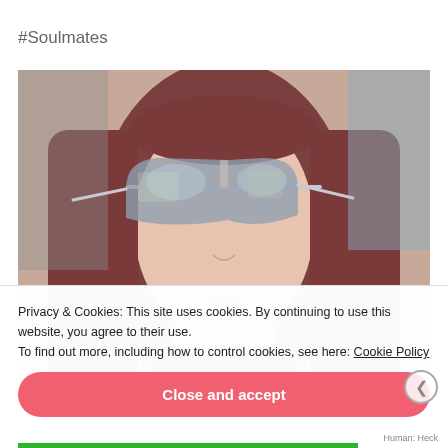#Soulmates
[Figure (photo): Close-up selfie of a young woman with long reddish-brown hair wearing large mirrored cat-eye sunglasses with silver frames, pouting lips, light skin tone, indoor background visible in reflection]
Privacy & Cookies: This site uses cookies. By continuing to use this website, you agree to their use.
To find out more, including how to control cookies, see here: Cookie Policy
Close and accept